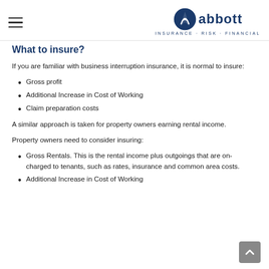Abbott Insurance · Risk · Financial
What to insure?
If you are familiar with business interruption insurance, it is normal to insure:
Gross profit
Additional Increase in Cost of Working
Claim preparation costs
A similar approach is taken for property owners earning rental income.
Property owners need to consider insuring:
Gross Rentals. This is the rental income plus outgoings that are on-charged to tenants, such as rates, insurance and common area costs.
Additional Increase in Cost of Working